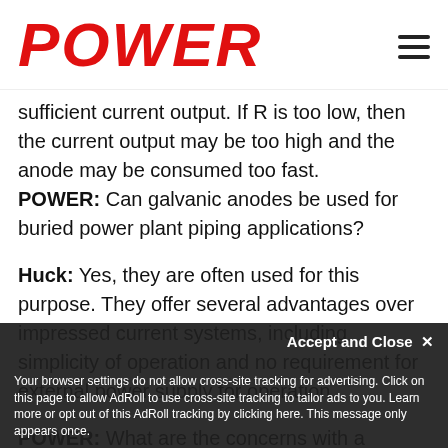POWER
sufficient current output. If R is too low, then the current output may be too high and the anode may be consumed too fast.
POWER: Can galvanic anodes be used for buried power plant piping applications?
Huck: Yes, they are often used for this purpose. They offer several advantages over impressed current systems, including simplicity of operation and no requirement for external power supply for operation.
POWER: What are the concerns with a galvanic system in a power plant application?
Huck: The big concern is the grounding system. In...
Your browser settings do not allow cross-site tracking for advertising. Click on this page to allow AdRoll to use cross-site tracking to tailor ads to you. Learn more or opt out of this AdRoll tracking by clicking here. This message only appears once.